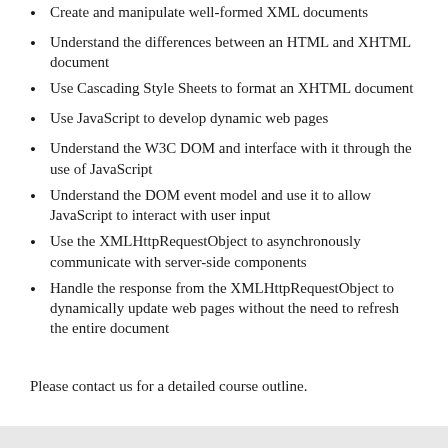Create and manipulate well-formed XML documents
Understand the differences between an HTML and XHTML document
Use Cascading Style Sheets to format an XHTML document
Use JavaScript to develop dynamic web pages
Understand the W3C DOM and interface with it through the use of JavaScript
Understand the DOM event model and use it to allow JavaScript to interact with user input
Use the XMLHttpRequestObject to asynchronously communicate with server-side components
Handle the response from the XMLHttpRequestObject to dynamically update web pages without the need to refresh the entire document
Please contact us for a detailed course outline.